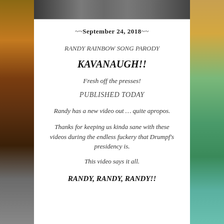[Figure (photo): Photo strip of people at top of white card]
~~September 24, 2018~~
RANDY RAINBOW SONG PARODY
KAVANAUGH!!
Fresh off the presses!
PUBLISHED TODAY
Randy has a new video out … quite apropos.
Thanks for keeping us kinda sane with these videos during the endless fuckery that Drumpf's presidency is.
This video says it all.
RANDY, RANDY, RANDY!!